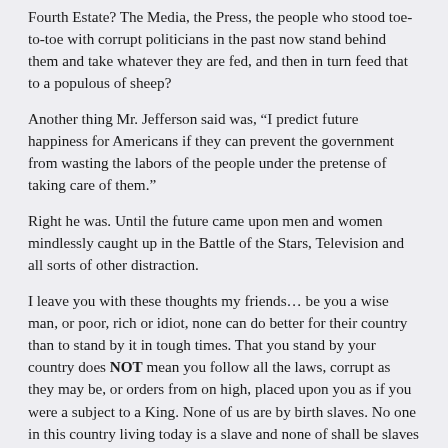Fourth Estate? The Media, the Press, the people who stood toe-to-toe with corrupt politicians in the past now stand behind them and take whatever they are fed, and then in turn feed that to a populous of sheep?
Another thing Mr. Jefferson said was, “I predict future happiness for Americans if they can prevent the government from wasting the labors of the people under the pretense of taking care of them.”
Right he was. Until the future came upon men and women mindlessly caught up in the Battle of the Stars, Television and all sorts of other distraction.
I leave you with these thoughts my friends… be you a wise man, or poor, rich or idiot, none can do better for their country than to stand by it in tough times. That you stand by your country does NOT mean you follow all the laws, corrupt as they may be, or orders from on high, placed upon you as if you were a subject to a King. None of us are by birth slaves. No one in this country living today is a slave and none of shall be slaves again. But if, like Mr. Karger, one chooses such a path then Sam Adams said it best.
“If ye love wealth better than liberty, the tranquility of servitude better than the animating contest of freedom, go home from us in peace. We ask not